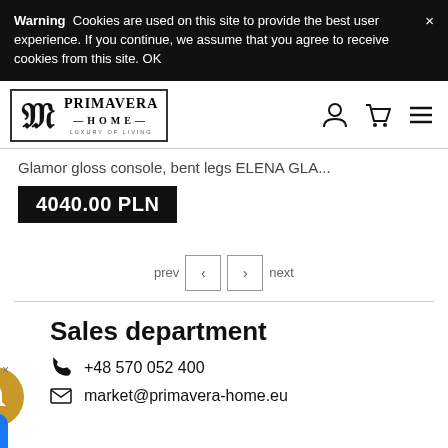Warning  Cookies are used on this site to provide the best user experience. If you continue, we assume that you agree to receive cookies from this site. OK
[Figure (logo): Primavera Home luxury of living logo with monogram PH in a rectangle border]
[Figure (infographic): Navigation icons: user account, shopping cart, hamburger menu]
Glamor gloss console, bent legs ELENA GLA...
4040.00 PLN
prev < > next
Sales department
+48 570 052 400
market@primavera-home.eu